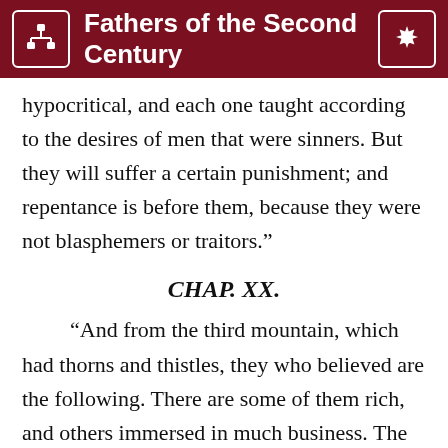Fathers of the Second Century
hypocritical, and each one taught according to the desires of men that were sinners. But they will suffer a certain punishment; and repentance is before them, because they were not blasphemers or traitors.”
CHAP. XX.
“And from the third mountain, which had thorns and thistles, they who believed are the following. There are some of them rich, and others immersed in much business. The thistles are the rich, and the thorns are they who are immersed in much business. Those, [accordingly, who are